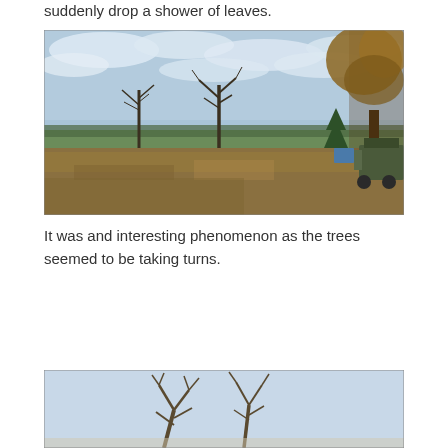suddenly drop a shower of leaves.
[Figure (photo): Outdoor autumn landscape scene with bare trees and a tree with golden-brown leaves on the right. The ground is covered with fallen leaves. A green field and tree line are visible in the background under a partly cloudy sky. Farm equipment is visible on the right side.]
It was and interesting phenomenon as the trees seemed to be taking turns.
[Figure (photo): Partial view of another outdoor photo showing bare tree branches against a light sky, cut off at the bottom of the page.]